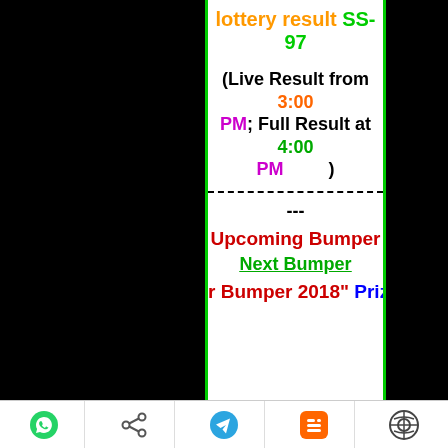lottery result SS-97
(Live Result from 3:00 PM; Full Result at 4:00 PM)
---
Upcoming Bumper
Next Bumper
r Bumper 2018" Prize Struc
Toolbar with WhatsApp, Share, Telegram, Blogger, WordPress icons